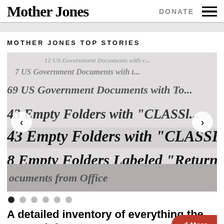Mother Jones
DONATE
MOTHER JONES TOP STORIES
[Figure (photo): Close-up photograph of a document listing classified government items: '12 US Government Documents with c...', '7 US Government Documents with t...', '69 US Government Documents with To...', '43 Empty Folders with CLASSI...ED', '8 Empty Folders Labeled Return to...' with left and right navigation arrows overlaid on the image.]
A detailed inventory of everything the FBI took from Mar-a-Lago
d More